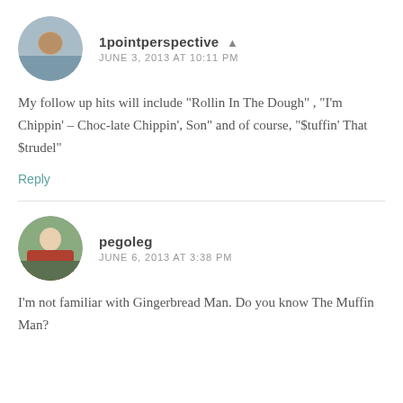1pointperspective  JUNE 3, 2013 AT 10:11 PM
My follow up hits will include "Rollin In The Dough", "I'm Chippin' – Choc-late Chippin', Son" and of course, "$tuffin' That $trudel"
Reply
pegoleg  JUNE 6, 2013 AT 3:38 PM
I'm not familiar with Gingerbread Man. Do you know The Muffin Man?